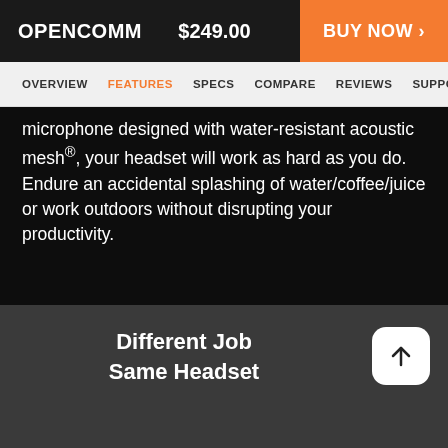OPENCOMM   $249.00   BUY NOW >
OVERVIEW  FEATURES  SPECS  COMPARE  REVIEWS  SUPPOR
microphone designed with water-resistant acoustic mesh®, your headset will work as hard as you do. Endure an accidental splashing of water/coffee/juice or work outdoors without disrupting your productivity.
Different Job Same Headset
OpenComm fulfills the needs of almost all occupations: driver, warehouse operator, offices or working from home. With this revolutionary headset,